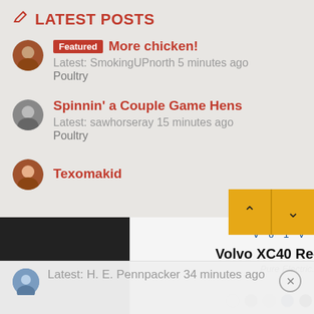LATEST POSTS
Featured More chicken!
Latest: SmokingUPnorth 5 minutes ago
Poultry
Spinnin' a Couple Game Hens
Latest: sawhorseray 15 minutes ago
Poultry
Texomakid
[Figure (screenshot): Ad overlay showing 'Loading ad' on a dark left panel, and Volvo XC40 Recharge Pure Electric. advertisement on light right panel with color selection dots]
Latest: H. E. Pennpacker 34 minutes ago